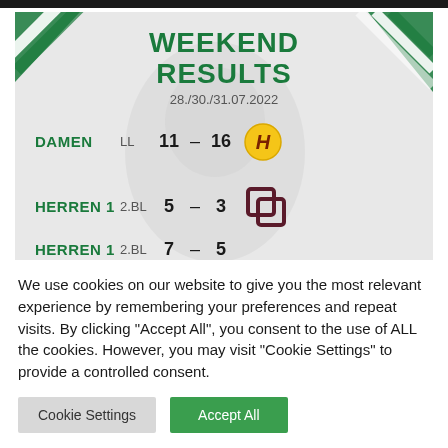[Figure (infographic): Weekend Results sports card showing match results for 28./30./31.07.2022. DAMEN LL 11 - 16 (opponent logo), HERREN 1 2.BL 5 - 3 (opponent logo), HERREN 1 2.BL 7 - 5 (opponent logo). Green and white design with diagonal stripe accents.]
We use cookies on our website to give you the most relevant experience by remembering your preferences and repeat visits. By clicking "Accept All", you consent to the use of ALL the cookies. However, you may visit "Cookie Settings" to provide a controlled consent.
Cookie Settings
Accept All